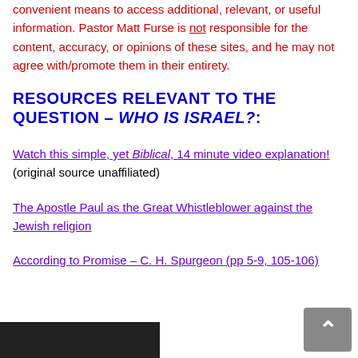convenient means to access additional, relevant, or useful information. Pastor Matt Furse is not responsible for the content, accuracy, or opinions of these sites, and he may not agree with/promote them in their entirety.
RESOURCES RELEVANT TO THE QUESTION – WHO IS ISRAEL?:
Watch this simple, yet Biblical, 14 minute video explanation! (original source unaffiliated)
The Apostle Paul as the Great Whistleblower against the Jewish religion
According to Promise – C. H. Spurgeon (pp 5-9, 105-106)